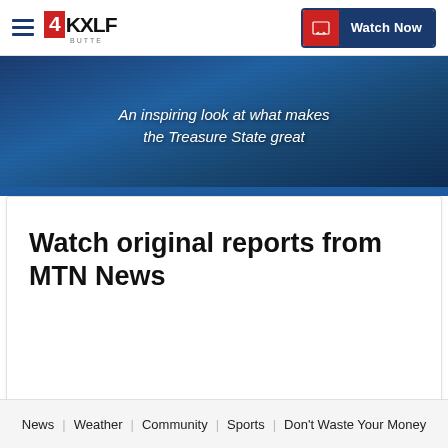4KXLF Butte — Watch Now
[Figure (photo): Dark blue banner with italic text: An inspiring look at what makes the Treasure State great]
Watch original reports from MTN News
News | Weather | Community | Sports | Don't Waste Your Money